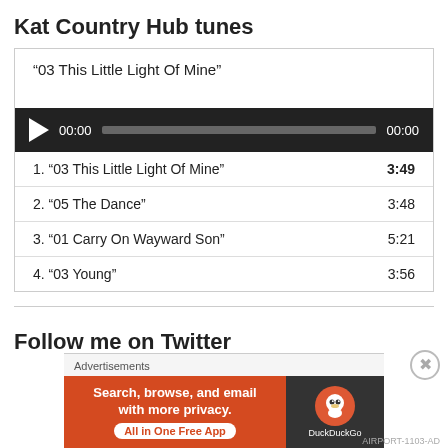Kat Country Hub tunes
“03 This Little Light Of Mine”
[Figure (screenshot): Audio player bar with play button, 00:00 timestamp, progress bar, and 00:00 end timestamp on dark background]
1. “03 This Little Light Of Mine”   3:49
2. “05 The Dance”   3:48
3. “01 Carry On Wayward Son”   5:21
4. “03 Young”   3:56
Follow me on Twitter
[Figure (screenshot): DuckDuckGo advertisement banner: orange left side with text 'Search, browse, and email with more privacy. All in One Free App' and dark right side with DuckDuckGo logo]
Advertisements